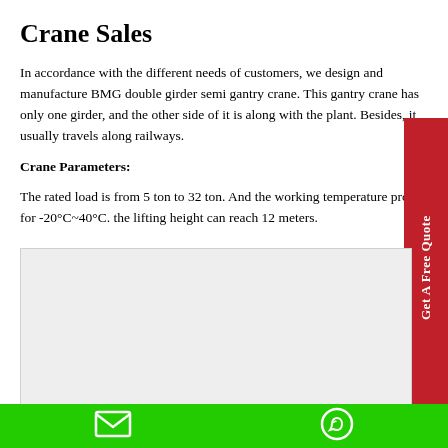Crane Sales
In accordance with the different needs of customers, we design and manufacture BMG double girder semi gantry crane. This gantry crane has only one girder, and the other side of it is along with the plant. Besides, it usually travels along railways.
Crane Parameters:
The rated load is from 5 ton to 32 ton. And the working temperature proper for -20°C~40°C. the lifting height can reach 12 meters.
[Figure (photo): Gray placeholder area for crane image]
Email and WhatsApp contact icons on green bar